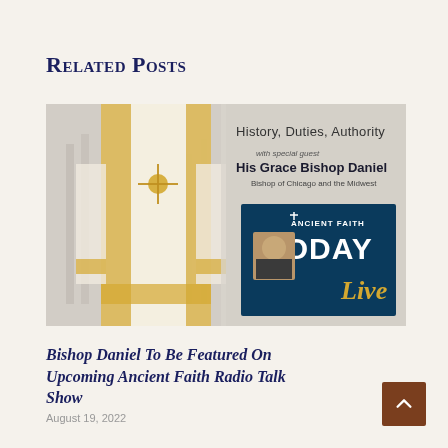Related Posts
[Figure (photo): Promotional image for Ancient Faith Today Live radio show featuring His Grace Bishop Daniel, Bishop of Chicago and the Midwest. Left side shows a bishop in white and gold vestments. Right side shows text: 'History, Duties, Authority with special guest His Grace Bishop Daniel, Bishop of Chicago and the Midwest' and an 'Ancient Faith TODAY Live' logo with a photo of the bishop.]
Bishop Daniel To Be Featured On Upcoming Ancient Faith Radio Talk Show
August 19, 2022